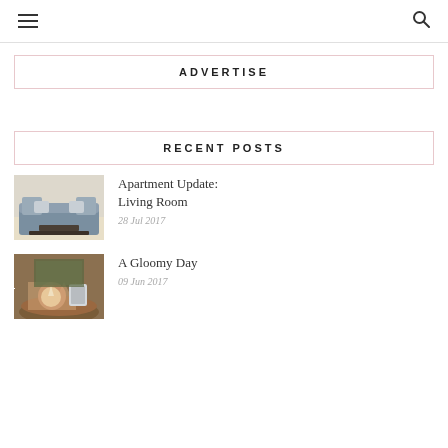Navigation menu and search icon
ADVERTISE
RECENT POSTS
[Figure (photo): Interior photo of a gray sofa with white pillows and a dark coffee table]
Apartment Update: Living Room
28 Jul 2017
[Figure (photo): A wooden tray with a white star-shaped candle holder and a mug, on a round coffee table]
A Gloomy Day
09 Jun 2017